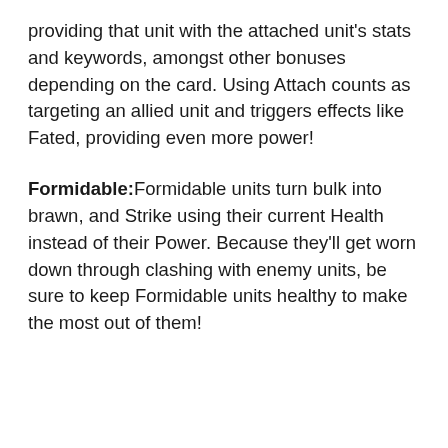providing that unit with the attached unit's stats and keywords, amongst other bonuses depending on the card. Using Attach counts as targeting an allied unit and triggers effects like Fated, providing even more power!
Formidable:Formidable units turn bulk into brawn, and Strike using their current Health instead of their Power. Because they'll get worn down through clashing with enemy units, be sure to keep Formidable units healthy to make the most out of them!